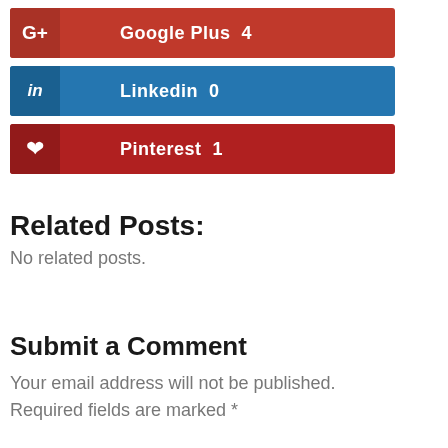[Figure (other): Google Plus social share button, red background, showing count 4]
[Figure (other): LinkedIn social share button, blue background, showing count 0]
[Figure (other): Pinterest social share button, dark red background, showing count 1]
Related Posts:
No related posts.
Submit a Comment
Your email address will not be published. Required fields are marked *